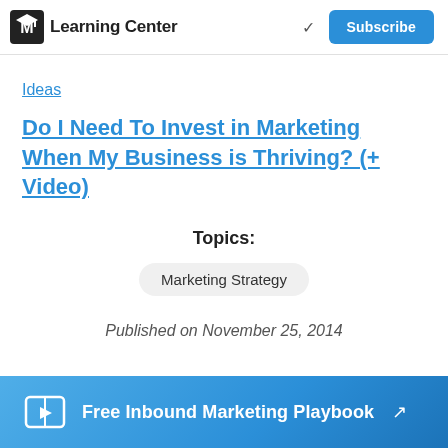Learning Center | Subscribe
Ideas
Do I Need To Invest in Marketing When My Business is Thriving? (+ Video)
Topics:
Marketing Strategy
Published on November 25, 2014
Free Inbound Marketing Playbook ↗